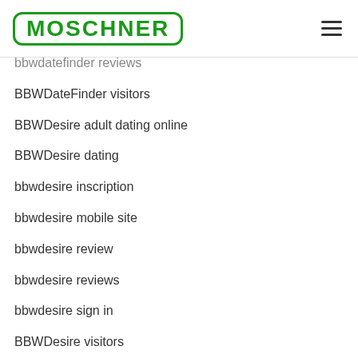MOSCHNER
bbwdatefinder reviews
BBWDateFinder visitors
BBWDesire adult dating online
BBWDesire dating
bbwdesire inscription
bbwdesire mobile site
bbwdesire review
bbwdesire reviews
bbwdesire sign in
BBWDesire visitors
Bdsm best dating apps
BDSM com adult dating online